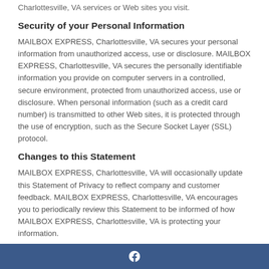Charlottesville, VA services or Web sites you visit.
Security of your Personal Information
MAILBOX EXPRESS, Charlottesville, VA secures your personal information from unauthorized access, use or disclosure. MAILBOX EXPRESS, Charlottesville, VA secures the personally identifiable information you provide on computer servers in a controlled, secure environment, protected from unauthorized access, use or disclosure. When personal information (such as a credit card number) is transmitted to other Web sites, it is protected through the use of encryption, such as the Secure Socket Layer (SSL) protocol.
Changes to this Statement
MAILBOX EXPRESS, Charlottesville, VA will occasionally update this Statement of Privacy to reflect company and customer feedback. MAILBOX EXPRESS, Charlottesville, VA encourages you to periodically review this Statement to be informed of how MAILBOX EXPRESS, Charlottesville, VA is protecting your information.
Contact Information
f